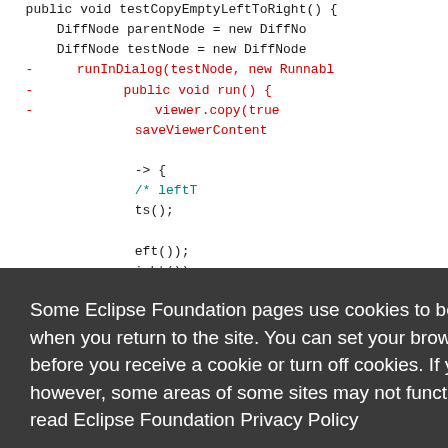[Figure (screenshot): Code diff view showing Java test method with removed lines (red) and a cookie consent overlay dialog with Decline and Allow cookies buttons.]
Some Eclipse Foundation pages use cookies to better serve you when you return to the site. You can set your browser to notify you before you receive a cookie or turn off cookies. If you do so, however, some areas of some sites may not function properly. To read Eclipse Foundation Privacy Policy click here.